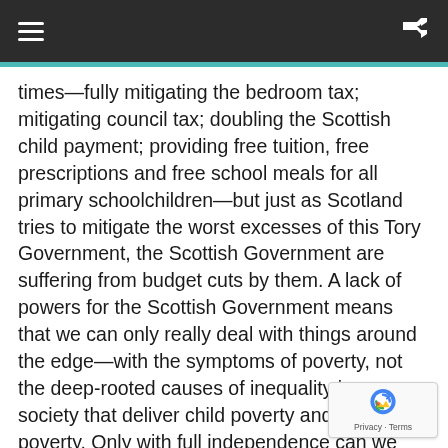times—fully mitigating the bedroom tax; mitigating council tax; doubling the Scottish child payment; providing free tuition, free prescriptions and free school meals for all primary schoolchildren—but just as Scotland tries to mitigate the worst excesses of this Tory Government, the Scottish Government are suffering from budget cuts by them. A lack of powers for the Scottish Government means that we can only really deal with things around the edge—with the symptoms of poverty, not the deep-rooted causes of inequality in our society that deliver child poverty and pension poverty. Only with full independence can we realise our ambition for our children, our young people and our pensioners.